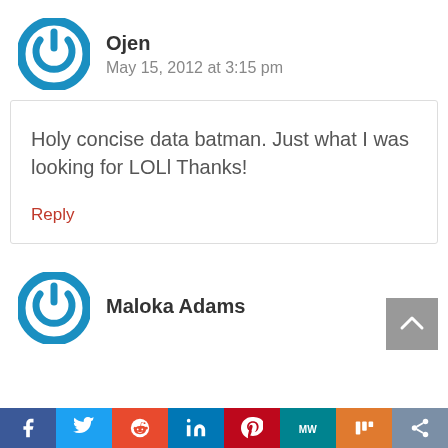[Figure (logo): Circular power button icon with blue ring for user Ojen]
Ojen
May 15, 2012 at 3:15 pm
Holy concise data batman. Just what I was looking for LOLl Thanks!
Reply
[Figure (logo): Circular power button icon with blue ring for user Maloka Adams]
Maloka Adams
[Figure (infographic): Social sharing bar with icons: Facebook, Twitter, Reddit, LinkedIn, Pinterest, ManagedWP, Mix, Share]